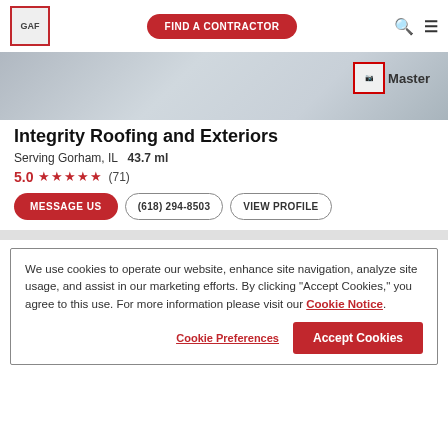[Figure (logo): GAF logo in red box at top left of navigation bar]
FIND A CONTRACTOR
[Figure (photo): Gray roofing background banner image with Master Elite badge in upper right]
Integrity Roofing and Exteriors
Serving Gorham, IL   43.7 ml
5.0 ★★★★★ (71)
MESSAGE US   (618) 294-8503   VIEW PROFILE
We use cookies to operate our website, enhance site navigation, analyze site usage, and assist in our marketing efforts. By clicking "Accept Cookies," you agree to this use. For more information please visit our Cookie Notice.
Cookie Preferences   Accept Cookies